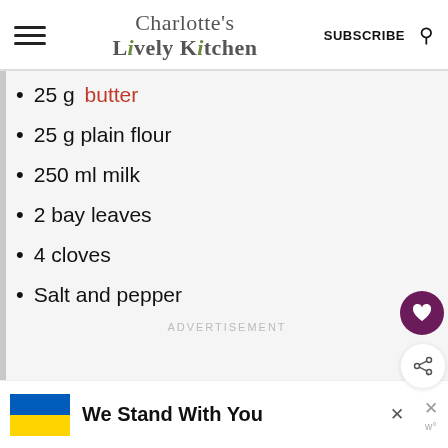Charlotte's Lively Kitchen | SUBSCRIBE
25 g butter
25 g plain flour
250 ml milk
2 bay leaves
4 cloves
Salt and pepper
ADVERTISEMENT
We Stand With You